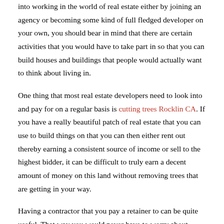into working in the world of real estate either by joining an agency or becoming some kind of full fledged developer on your own, you should bear in mind that there are certain activities that you would have to take part in so that you can build houses and buildings that people would actually want to think about living in.
One thing that most real estate developers need to look into and pay for on a regular basis is cutting trees Rocklin CA. If you have a really beautiful patch of real estate that you can use to build things on that you can then either rent out thereby earning a consistent source of income or sell to the highest bidder, it can be difficult to truly earn a decent amount of money on this land without removing trees that are getting in your way.
Having a contractor that you pay a retainer to can be quite useful. That way you would never have to worry about sudden costs but